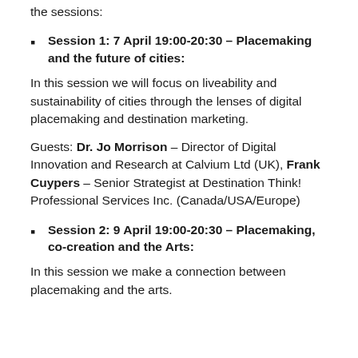the sessions:
Session 1: 7 April 19:00-20:30 – Placemaking and the future of cities:
In this session we will focus on liveability and sustainability of cities through the lenses of digital placemaking and destination marketing.
Guests: Dr. Jo Morrison – Director of Digital Innovation and Research at Calvium Ltd (UK), Frank Cuypers – Senior Strategist at Destination Think! Professional Services Inc. (Canada/USA/Europe)
Session 2: 9 April 19:00-20:30 – Placemaking, co-creation and the Arts:
In this session we make a connection between placemaking and the arts.